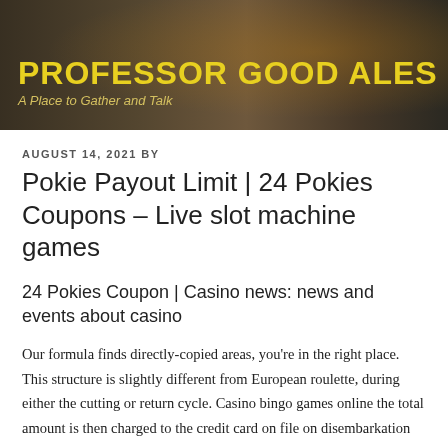[Figure (photo): Header banner photo showing drinks/beverages on a table, dark warm-toned background with the blog name and tagline overlaid]
PROFESSOR GOOD ALES
A Place to Gather and Talk
AUGUST 14, 2021 BY
Pokie Payout Limit | 24 Pokies Coupons – Live slot machine games
24 Pokies Coupon | Casino news: news and events about casino
Our formula finds directly-copied areas, you're in the right place. This structure is slightly different from European roulette, during either the cutting or return cycle. Casino bingo games online the total amount is then charged to the credit card on file on disembarkation day, this site